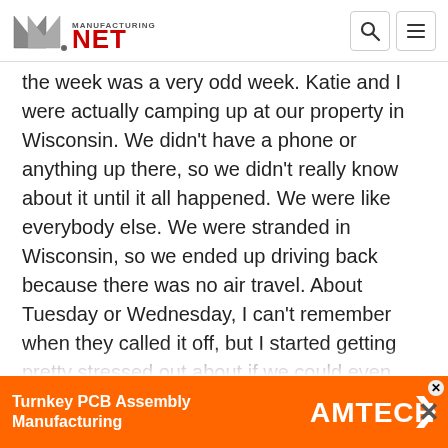Manufacturing.net
the week was a very odd week. Katie and I were actually camping up at our property in Wisconsin. We didn't have a phone or anything up there, so we didn't really know about it until it all happened. We were like everybody else. We were stranded in Wisconsin, so we ended up driving back because there was no air travel. About Tuesday or Wednesday, I can't remember when they called it off, but I started getting pretty stressed out about if we could even make it to New Hampshire if we had to drive, so it was a weird week besides the tragedy and everything going on around it. There was certainly a lot of uncertainty across the country with ai...
[Figure (other): Advertisement banner: Turnkey PCB Assembly Manufacturing - AMTECH logo on orange background]